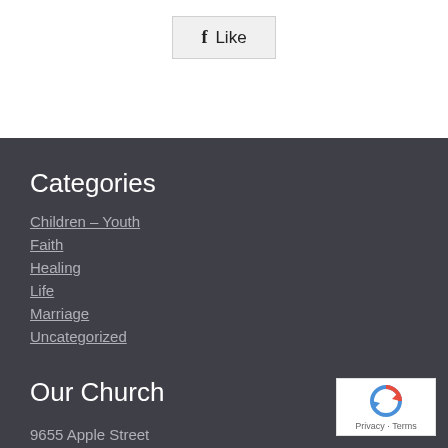[Figure (other): Facebook Like button with 'f' icon and 'Like' text on a light gray background]
Categories
Children – Youth
Faith
Healing
Life
Marriage
Uncategorized
Our Church
9655 Apple Street
Spring Valley, CA 91978
[Figure (other): Google reCAPTCHA badge with circular arrow icon and 'Privacy - Terms' text]